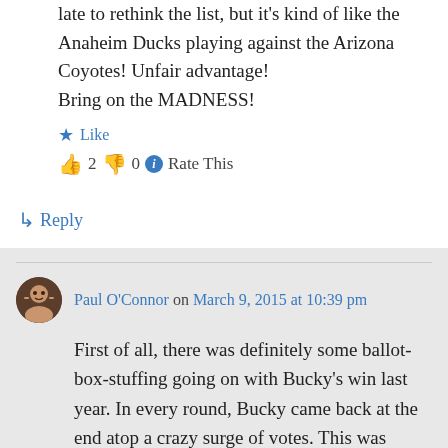late to rethink the list, but it's kind of like the Anaheim Ducks playing against the Arizona Coyotes! Unfair advantage!
Bring on the MADNESS!
★ Like
👍 2 👎 0 ℹ Rate This
↳ Reply
Paul O'Connor on March 9, 2015 at 10:39 pm
First of all, there was definitely some ballot-box-stuffing going on with Bucky's win last year. In every round, Bucky came back at the end atop a crazy surge of votes. This was suspicious, irregular, and entirely